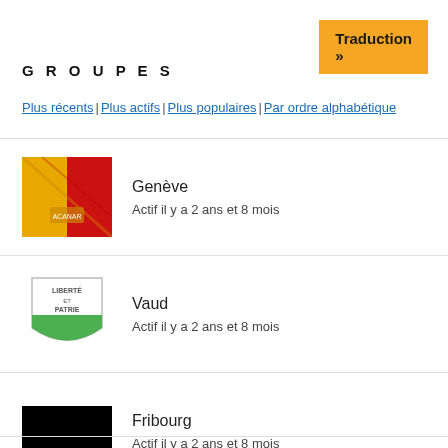Traduction »
GROUPES
Plus récents | Plus actifs | Plus populaires | Par ordre alphabétique
Genève
Actif il y a 2 ans et 8 mois
Vaud
Actif il y a 2 ans et 8 mois
Fribourg
Actif il y a 2 ans et 8 mois